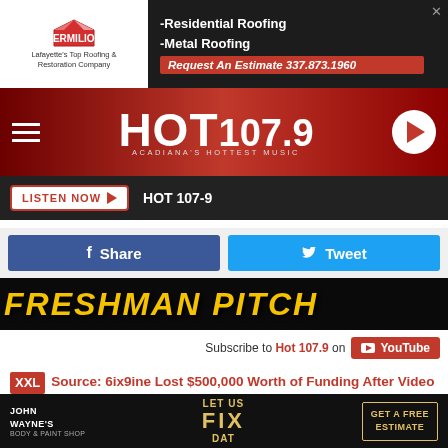[Figure (other): Vermilion Roofing advertisement banner: Residential Roofing, Metal Roofing, Request An Estimate 337.873.1960]
[Figure (logo): HOT 107.9 Acadiana's Hottest Music logo on red gradient navigation bar with hamburger menu and play button]
LISTEN NOW  HOT 107-9
Share  Tweet
[Figure (photo): Partial image with text FRESHMAN PITCH on dark background]
Subscribe to Hot 107.9 on YouTube
XXL Source: 6ix9ine Lost $500,000 Worth of Funding After Video Set Shooting
Filed Under: 6ix9ine
[Figure (other): John Wayne's Body & Paint Shop - Let Us Fix Dat - Get A Free Estimate advertisement]